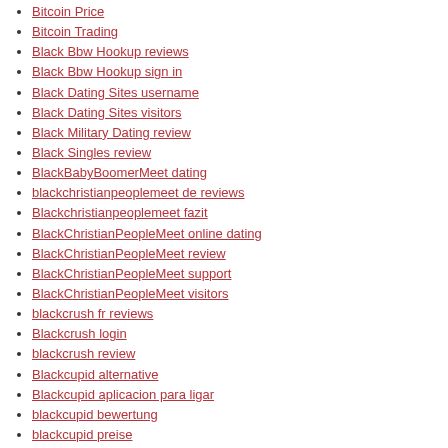Bitcoin Price
Bitcoin Trading
Black Bbw Hookup reviews
Black Bbw Hookup sign in
Black Dating Sites username
Black Dating Sites visitors
Black Military Dating review
Black Singles review
BlackBabyBoomerMeet dating
blackchristianpeoplemeet de reviews
Blackchristianpeoplemeet fazit
BlackChristianPeopleMeet online dating
BlackChristianPeopleMeet review
BlackChristianPeopleMeet support
BlackChristianPeopleMeet visitors
blackcrush fr reviews
Blackcrush login
blackcrush review
Blackcupid alternative
Blackcupid aplicacion para ligar
blackcupid bewertung
blackcupid preise
Blackcupid qu'est ce que
blackcupid review
blackcupid review 2021
blackdatingforfree review